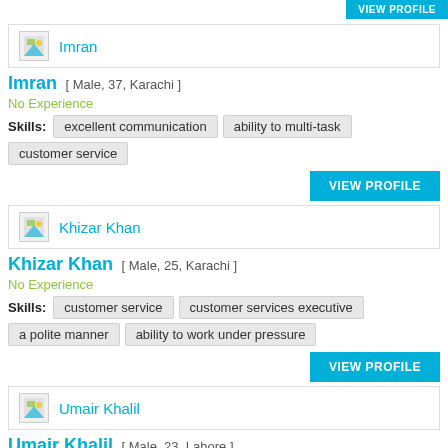[Figure (screenshot): VIEW PROFILE button at top right (partially visible)]
[Figure (screenshot): Profile card with image icon and name: Imran]
Imran [ Male, 37, Karachi ]
No Experience
Skills: excellent communication   ability to multi-task   customer service
[Figure (screenshot): VIEW PROFILE button]
[Figure (screenshot): Profile card with image icon and name: Khizar Khan]
Khizar Khan [ Male, 25, Karachi ]
No Experience
Skills: customer service   customer services executive   a polite manner   ability to work under pressure
[Figure (screenshot): VIEW PROFILE button]
[Figure (screenshot): Profile card with image icon and name: Umair Khalil]
Umair Khalil [ Male, 23, Lahore ]
No Experience